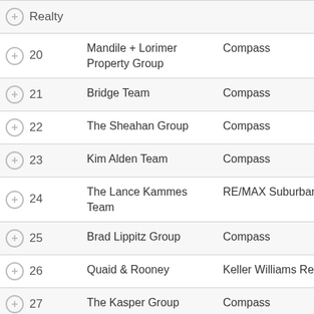| Rank | Team | Brokerage |
| --- | --- | --- |
| 20 | Mandile + Lorimer Property Group | Compass |
| 21 | Bridge Team | Compass |
| 22 | The Sheahan Group | Compass |
| 23 | Kim Alden Team | Compass |
| 24 | The Lance Kammes Team | RE/MAX Suburban |
| 25 | Brad Lippitz Group | Compass |
| 26 | Quaid & Rooney | Keller Williams Realty |
| 27 | The Kasper Group | Compass |